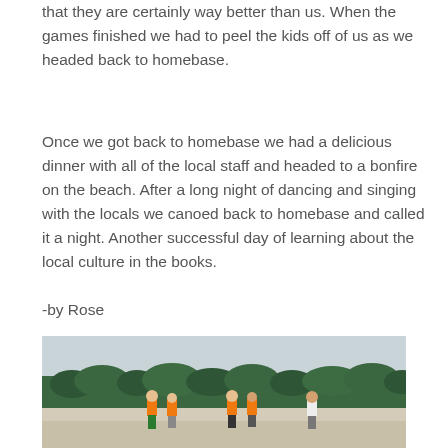that they are certainly way better than us. When the games finished we had to peel the kids off of us as we headed back to homebase.
Once we got back to homebase we had a delicious dinner with all of the local staff and headed to a bonfire on the beach. After a long night of dancing and singing with the locals we canoed back to homebase and called it a night. Another successful day of learning about the local culture in the books.
-by Rose
[Figure (photo): Children and adults playing a game on a sandy beach with trees/mangroves in the background. Several people are wearing orange vests.]